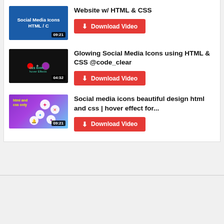[Figure (screenshot): Video thumbnail: blue background with 'Social Media Icons HTML/C' text and 09:21 duration badge]
Website w/ HTML & CSS
Download Video
[Figure (screenshot): Video thumbnail: dark background with CSS icon hover effects graphic and 04:32 duration badge]
Glowing Social Media Icons using HTML & CSS @code_clear
Download Video
[Figure (screenshot): Video thumbnail: purple/blue gradient background with html and css only label and social media icon circles, 09:21 duration badge]
Social media icons beautiful design html and css | hover effect for...
Download Video